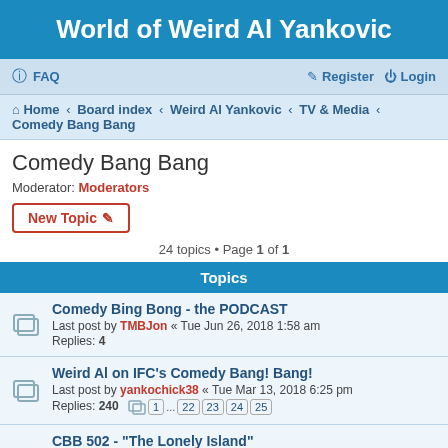World of Weird Al Yankovic
FAQ   Register   Login
Home › Board index › Weird Al Yankovic › TV & Media › Comedy Bang Bang
Comedy Bang Bang
Moderator: Moderators
New Topic
24 topics • Page 1 of 1
Topics
Comedy Bing Bong - the PODCAST
Last post by TMBJon « Tue Jun 26, 2018 1:58 am
Replies: 4
Weird Al on IFC's Comedy Bang! Bang!
Last post by yankochick38 « Tue Mar 13, 2018 6:25 pm
Replies: 240  [pages: 1 ... 22 23 24 25]
CBB 502 - "The Lonely Island"
Last post by Big Spoon « Sat Jun 17, 2017 6:17 pm
Replies: 40  [pages: 1 2 3 4 5]
How To Watch CBB If You Don't Get IFC
Last post by TMBJon « Fri Jun 02, 2017 11:04 pm
Replies: 5